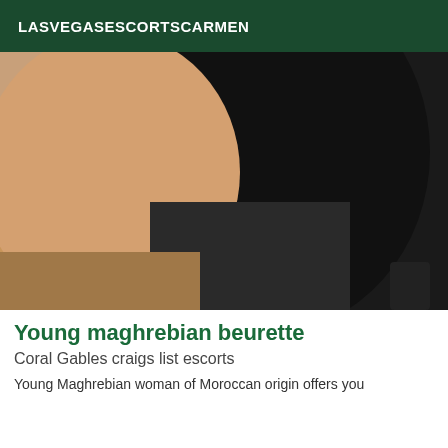LASVEGASESCORTSCARMEN
[Figure (photo): Close-up photo of a person wearing a black outfit, cropped view]
Young maghrebian beurette
Coral Gables craigs list escorts
Young Maghrebian woman of Moroccan origin offers you